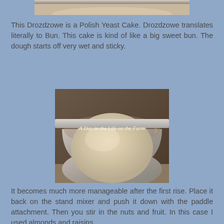[Figure (photo): Top portion of a mixing bowl with dough, partially cropped at top of page]
This Drozdzowe is a Polish Yeast Cake. Drozdzowe translates literally to Bun. This cake is kind of like a big sweet bun. The dough starts off very wet and sticky.
[Figure (photo): A round ball of risen dough in a stainless steel mixing bowl, with watermark 'A Day in the Life on the Farm']
It becomes much more manageable after the first rise. Place it back on the stand mixer and push it down with the paddle attachment. Then you stir in the nuts and fruit. In this case I used almonds and raisins.